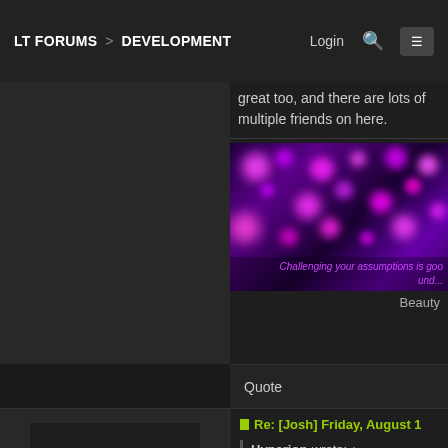LT FORUMS > DEVELOPMENT   Login
great too, and there are lots of multiple friends on here.
[Figure (illustration): Purple bokeh background with bright magenta/purple glowing dots and cursive text overlay reading 'Challenging your assumptions is good... und...']
Challenging your assumptions is good... und...
Beauty
Quote
Re: [Josh] Friday, August 1
Hyperion wrote: ↑
Fri Sep 07, 2018 10:32 pm
Of course plenty of work still
Employee 2-4601